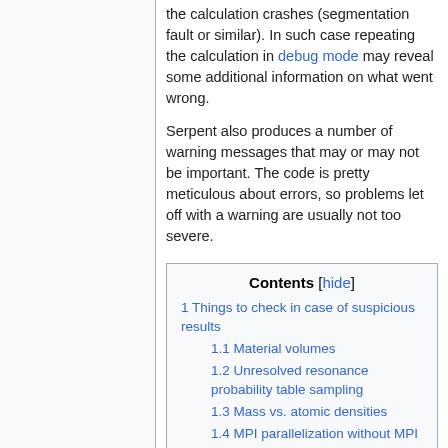the calculation crashes (segmentation fault or similar). In such case repeating the calculation in debug mode may reveal some additional information on what went wrong.
Serpent also produces a number of warning messages that may or may not be important. The code is pretty meticulous about errors, so problems let off with a warning are usually not too severe.
Contents [hide]
1 Things to check in case of suspicious results
1.1 Material volumes
1.2 Unresolved resonance probability table sampling
1.3 Mass vs. atomic densities
1.4 MPI parallelization without MPI